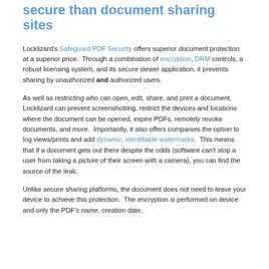secure than document sharing sites
Locklizard's Safeguard PDF Security offers superior document protection at a superior price.  Through a combination of encryption, DRM controls, a robust licensing system, and its secure viewer application, it prevents sharing by unauthorized and authorized users.
As well as restricting who can open, edit, share, and print a document, Locklizard can prevent screenshotting, restrict the devices and locations where the document can be opened, expire PDFs, remotely revoke documents, and more.  Importantly, it also offers companies the option to log views/prints and add dynamic, identifiable watermarks.  This means that if a document gets out there despite the odds (software can't stop a user from taking a picture of their screen with a camera), you can find the source of the leak.
Unlike secure sharing platforms, the document does not need to leave your device to achieve this protection.  The encryption is performed on device and only the PDF's name, creation date, and content to the server are uploaded to the licensing servers. No